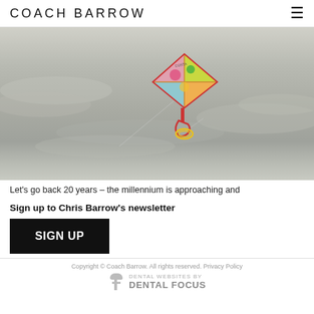COACH BARROW
[Figure (photo): A colorful diamond kite flying against a grey overcast sky. The kite has bright colors including yellow, green, pink, and red. It has a red frame and a yellow bow/handle below it. Strings trail off to the side.]
Let's go back 20 years – the millennium is approaching and
Sign up to Chris Barrow's newsletter
SIGN UP
Copyright © Coach Barrow. All rights reserved. Privacy Policy
DENTAL WEBSITES BY DENTAL FOCUS